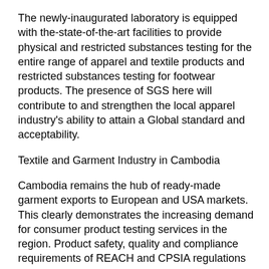The newly-inaugurated laboratory is equipped with the-state-of-the-art facilities to provide physical and restricted substances testing for the entire range of apparel and textile products and restricted substances testing for footwear products. The presence of SGS here will contribute to and strengthen the local apparel industry's ability to attain a Global standard and acceptability.
Textile and Garment Industry in Cambodia
Cambodia remains the hub of ready-made garment exports to European and USA markets. This clearly demonstrates the increasing demand for consumer product testing services in the region. Product safety, quality and compliance requirements of REACH and CPSIA regulations have increased the need for chemical test parameters in the textile supply chain. The SGS new state-of-the-art facility is fully equipped to address these restricted substances requirements as well...